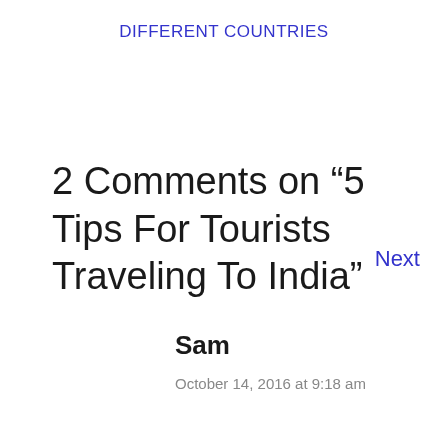DIFFERENT COUNTRIES
Next
2 Comments on “5 Tips For Tourists Traveling To India”
Sam
October 14, 2016 at 9:18 am